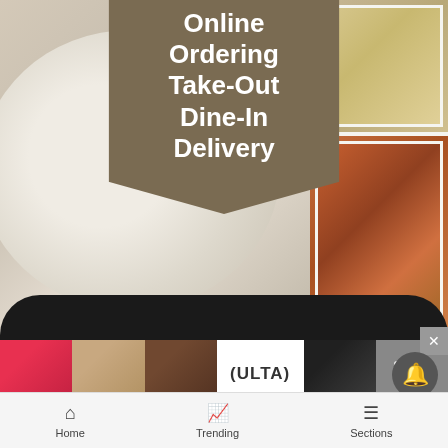[Figure (infographic): Restaurant advertisement showing food photos on left and right, with a brown ribbon banner overlay listing: Online Ordering, Take-Out, Dine-In, Delivery]
Online Ordering
Take-Out
Dine-In
Delivery
11:00am - 9:30pm Daily
Happy Hour 3pm - 6pm Daily
970-544-9888
308 S Hunter St.,Aspen
[Figure (infographic): ULTA Beauty advertisement banner with makeup photos]
SHOP NOW
The ch... hich
Home
Trending
Sections